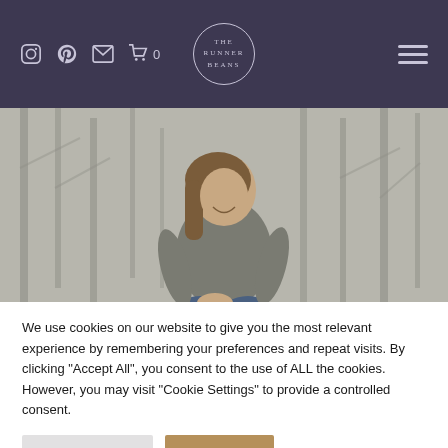The Runner Beans website header with navigation icons and logo
[Figure (photo): A smiling woman with long brown hair sitting outdoors in a wooded area, wearing a grey long-sleeve top and blue jeans]
We use cookies on our website to give you the most relevant experience by remembering your preferences and repeat visits. By clicking "Accept All", you consent to the use of ALL the cookies. However, you may visit "Cookie Settings" to provide a controlled consent.
Cookie Settings
Accept All